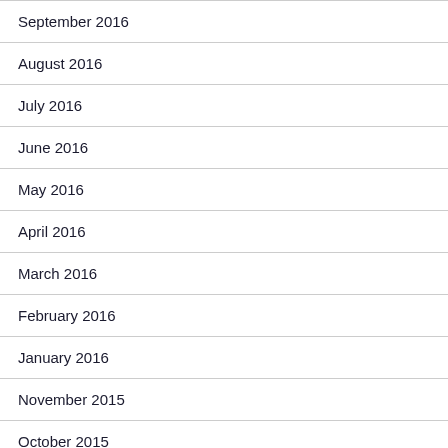September 2016
August 2016
July 2016
June 2016
May 2016
April 2016
March 2016
February 2016
January 2016
November 2015
October 2015
September 2015
August 2015
July 2015
June 2015